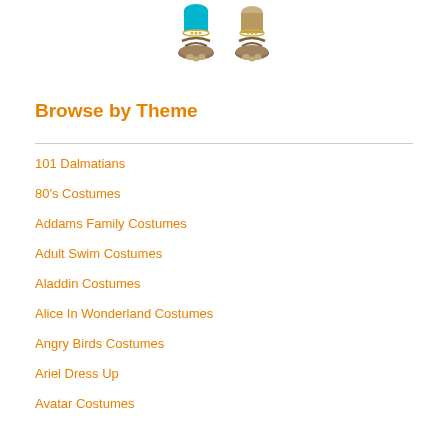[Figure (photo): Bottom portion of costume figures showing feet and lower legs with decorative sandals and anklets on a white background]
Browse by Theme
101 Dalmatians
80's Costumes
Addams Family Costumes
Adult Swim Costumes
Aladdin Costumes
Alice In Wonderland Costumes
Angry Birds Costumes
Ariel Dress Up
Avatar Costumes